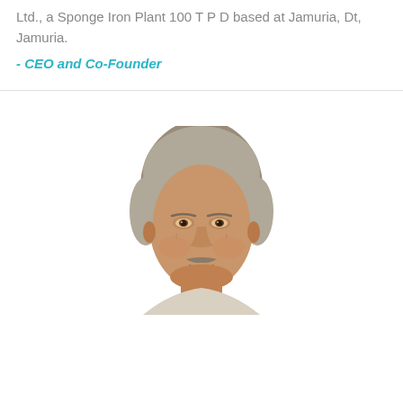Ltd., a Sponge Iron Plant 100 T P D based at Jamuria, Dt, Jamuria.
- CEO and Co-Founder
[Figure (photo): Portrait photo of a middle-aged man with gray hair and a mustache, smiling slightly, shown from shoulders up against a white background.]